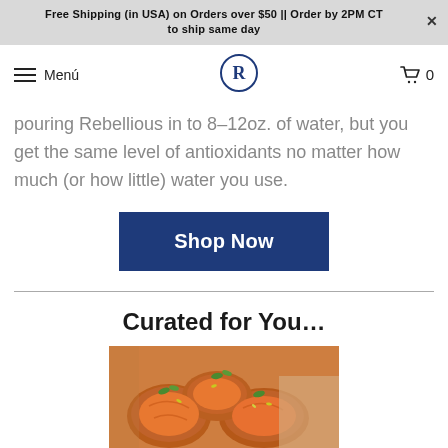Free Shipping (in USA) on Orders over $50 || Order by 2PM CT to ship same day
Menú
[Figure (logo): Circular logo with letter R inside]
0
pouring Rebellious in to 8–12oz. of water, but you get the same level of antioxidants no matter how much (or how little) water you use.
Shop Now
Curated for You…
[Figure (photo): Close-up photo of roasted sweet potato halves topped with green herbs and seeds on parchment paper]